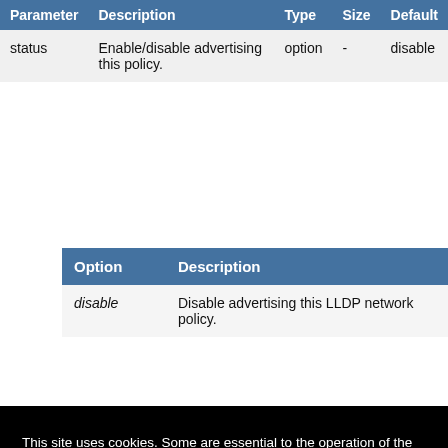| Parameter | Description | Type | Size | Default |
| --- | --- | --- | --- | --- |
| status | Enable/disable advertising this policy. | option | - | disable |
| Option | Description |
| --- | --- |
| disable | Disable advertising this LLDP network policy. |
This site uses cookies. Some are essential to the operation of the site; others help us improve the user experience. By continuing to use the site, you consent to the use of these cookies. To learn more about cookies, please read our privacy policy.